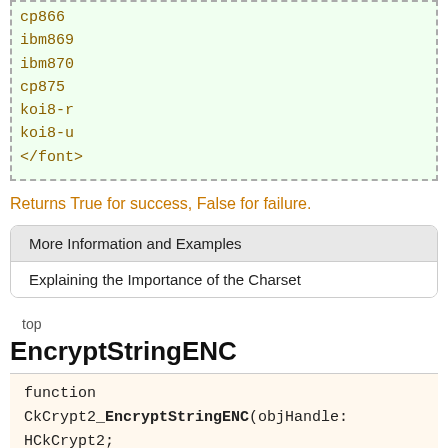cp866
ibm869
ibm870
cp875
koi8-r
koi8-u
</font>
Returns True for success, False for failure.
| More Information and Examples |
| Explaining the Importance of the Charset |
top
EncryptStringENC
function CkCrypt2_EncryptStringENC(objHandle: HCkCrypt2;
    str: PWideChar;